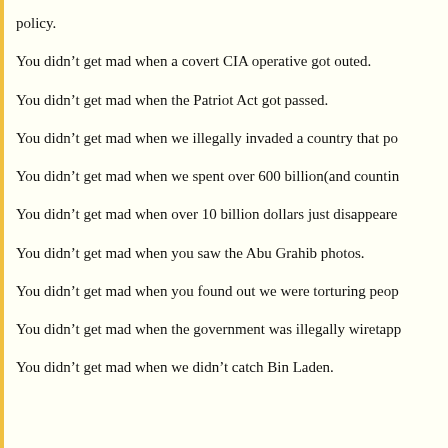policy.
You didn’t get mad when a covert CIA operative got outed.
You didn’t get mad when the Patriot Act got passed.
You didn’t get mad when we illegally invaded a country that po…
You didn’t get mad when we spent over 600 billion(and countin…
You didn’t get mad when over 10 billion dollars just disappeare…
You didn’t get mad when you saw the Abu Grahib photos.
You didn’t get mad when you found out we were torturing peop…
You didn’t get mad when the government was illegally wiretapp…
You didn’t get mad when we didn’t catch Bin Laden.